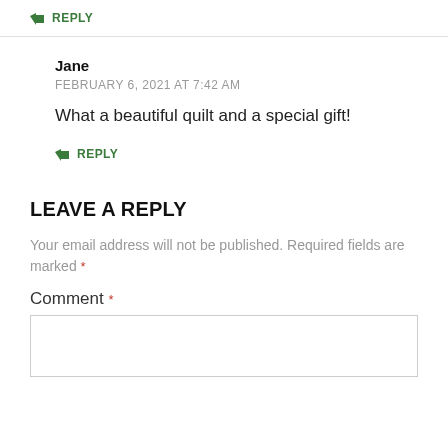↳ REPLY
Jane
FEBRUARY 6, 2021 AT 7:42 AM
What a beautiful quilt and a special gift!
↳ REPLY
LEAVE A REPLY
Your email address will not be published. Required fields are marked *
Comment *